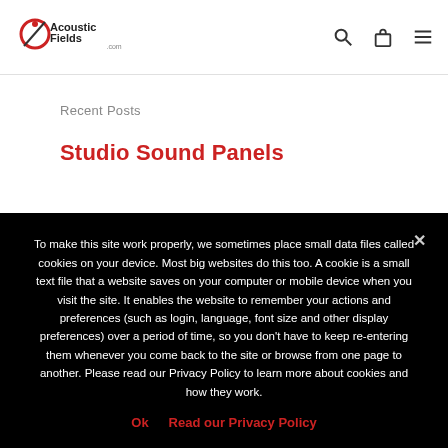[Figure (logo): Acoustic Fields .com logo with red circular icon and black text]
Recent Posts
Studio Sound Panels
To make this site work properly, we sometimes place small data files called cookies on your device. Most big websites do this too. A cookie is a small text file that a website saves on your computer or mobile device when you visit the site. It enables the website to remember your actions and preferences (such as login, language, font size and other display preferences) over a period of time, so you don't have to keep re-entering them whenever you come back to the site or browse from one page to another. Please read our Privacy Policy to learn more about cookies and how they work.
Ok   Read our Privacy Policy